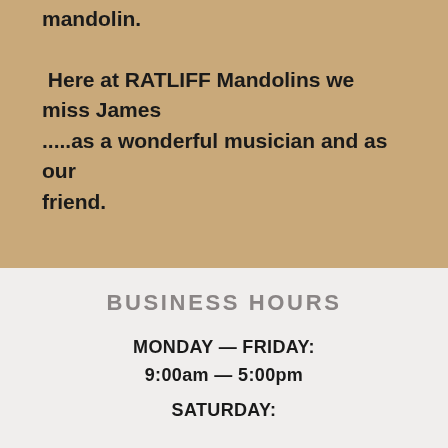mandolin.

 Here at RATLIFF Mandolins we miss James .....as a wonderful musician and as our friend.
BUSINESS HOURS
MONDAY — FRIDAY:
9:00am — 5:00pm
SATURDAY: